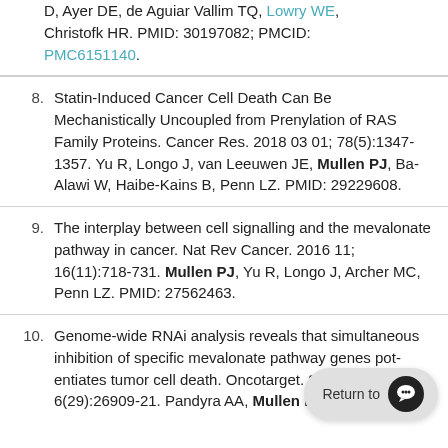D, Ayer DE, de Aguiar Vallim TQ, Lowry WE, Christofk HR. PMID: 30197082; PMCID: PMC6151140.
8. Statin-Induced Cancer Cell Death Can Be Mechanistically Uncoupled from Prenylation of RAS Family Proteins. Cancer Res. 2018 03 01; 78(5):1347-1357. Yu R, Longo J, van Leeuwen JE, Mullen PJ, Ba-Alawi W, Haibe-Kains B, Penn LZ. PMID: 29229608.
9. The interplay between cell signalling and the mevalonate pathway in cancer. Nat Rev Cancer. 2016 11; 16(11):718-731. Mullen PJ, Yu R, Longo J, Archer MC, Penn LZ. PMID: 27562463.
10. Genome-wide RNAi analysis reveals that simultaneous inhibition of specific mevalonate pathway genes potentiates tumor cell death. Oncotarget. 2015; 6(29):26909-21. Pandyra AA, Mullen PJ,